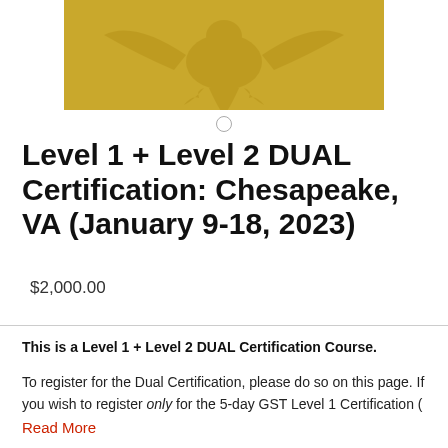[Figure (illustration): Golden/amber colored banner image with an eagle emblem watermark]
Level 1 + Level 2 DUAL Certification: Chesapeake, VA (January 9-18, 2023)
$2,000.00
This is a Level 1 + Level 2 DUAL Certification Course.
To register for the Dual Certification, please do so on this page. If you wish to register only for the 5-day GST Level 1 Certification (
Read More